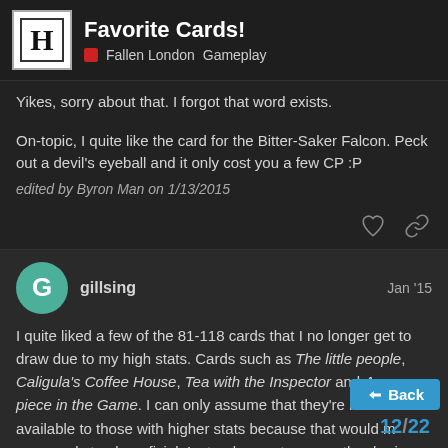Favorite Cards! — Fallen London Gameplay
Yikes, sorry about that. I forgot that word exists.
On-topic, I quite like the card for the Bitter-Saker Falcon. Peck out a devil's eyeball and it only cost you a few CP :P
edited by Byron Man on 1/13/2015
gillsing — Jan '15
I quite liked a few of the 81-118 cards that I no longer get to draw due to my high stats. Cards such as The little people, Caligula's Coffee House, Tea with the Inspector and A new piece in the Game. I can only assume that they're not available to those with higher stats because that would m ards too beneficial. Instead we get some rather boring cards that only give 1-1.2 Echoes of resources for stats at Not nearly as much fun as cards that can b